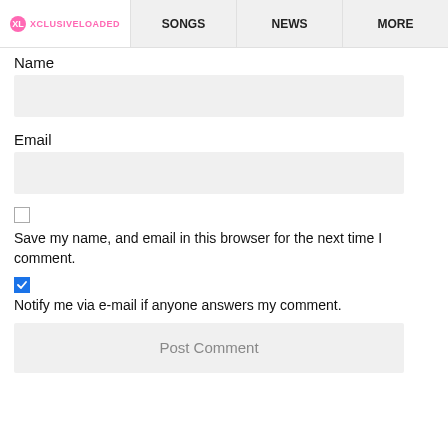XCLUSIVELOADED  SONGS  NEWS  MORE
Name
Email
Save my name, and email in this browser for the next time I comment.
Notify me via e-mail if anyone answers my comment.
Post Comment